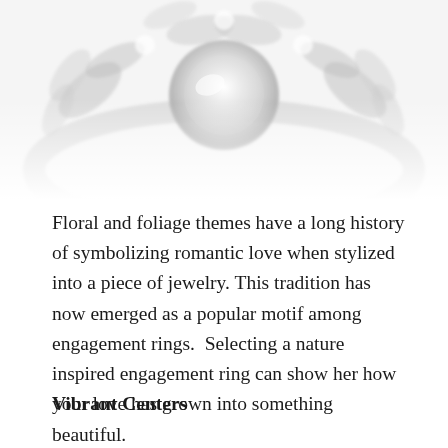[Figure (photo): Close-up photograph of a floral/nature-inspired jewelry ring in white/silver tones, fading into white at bottom, partially cropped at top]
Floral and foliage themes have a long history of symbolizing romantic love when stylized into a piece of jewelry. This tradition has now emerged as a popular motif among engagement rings.  Selecting a nature inspired engagement ring can show her how your love has grown into something beautiful.
Vibrant Centers